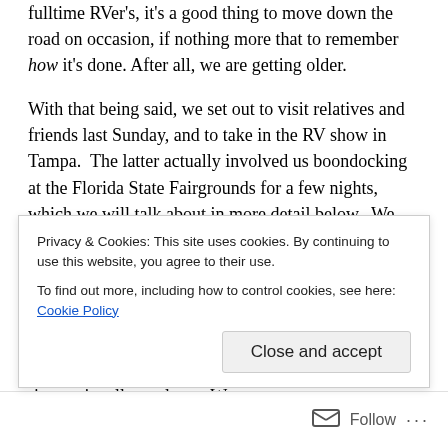fulltime RVer's, it's a good thing to move down the road on occasion, if nothing more that to remember how it's done. After all, we are getting older.
With that being said, we set out to visit relatives and friends last Sunday, and to take in the RV show in Tampa. The latter actually involved us boondocking at the Florida State Fairgrounds for a few nights, which we will talk about in more detail below. We left the Escape on our site in Melbourne Beach, along with our carpet and our solar yard lights. Even with that presence, we were the talk of the park when we left. One of the residents waited for us to pass by his rig and asked, "Are you coming back?" People tend not to move, once they are here, and most leave their rigs onsite all year long. We are
Privacy & Cookies: This site uses cookies. By continuing to use this website, you agree to their use.
To find out more, including how to control cookies, see here: Cookie Policy
Close and accept
Follow ···